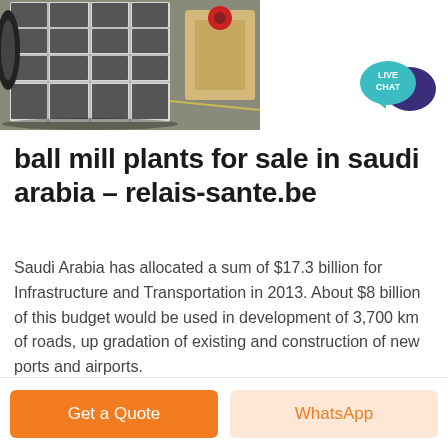[Figure (photo): Industrial jaw crusher / ball mill equipment photographed in a factory setting. Large white metal frame with grid pattern visible. Additional machinery in background.]
[Figure (logo): Live Chat badge: teal speech bubble with 'LIVE CHAT' text, dark purple chat bubble overlapping to the right.]
ball mill plants for sale in saudi arabia - relais-sante.be
Saudi Arabia has allocated a sum of $17.3 billion for Infrastructure and Transportation in 2013. About $8 billion of this budget would be used in development of 3,700 km of roads, up gradation of existing and construction of new ports and airports.
Get a Quote
WhatsApp